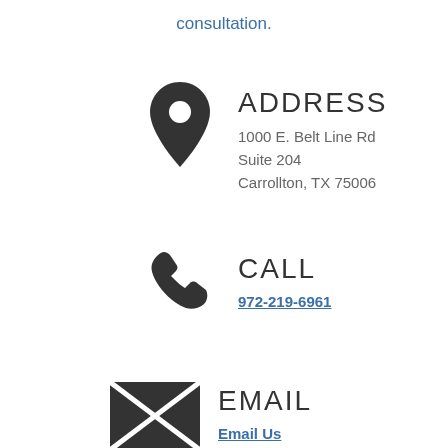consultation.
ADDRESS
1000 E. Belt Line Rd
Suite 204
Carrollton, TX 75006
CALL
972-219-6961
EMAIL
Email Us